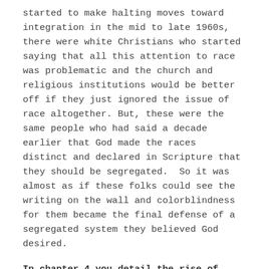started to make halting moves toward integration in the mid to late 1960s, there were white Christians who started saying that all this attention to race was problematic and the church and religious institutions would be better off if they just ignored the issue of race altogether. But, these were the same people who had said a decade earlier that God made the races distinct and declared in Scripture that they should be segregated. So it was almost as if these folks could see the writing on the wall and colorblindness for them became the final defense of a segregated system they believed God desired.
In chapter 4 you detail the rise of colorblindness during the integration battle